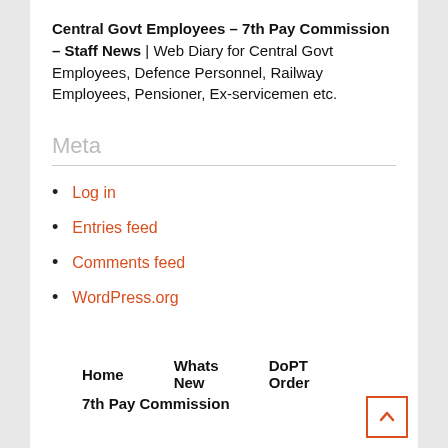Central Govt Employees – 7th Pay Commission – Staff News | Web Diary for Central Govt Employees, Defence Personnel, Railway Employees, Pensioner, Ex-servicemen etc.
Meta
Log in
Entries feed
Comments feed
WordPress.org
Home   Whats New   DoPT Order   7th Pay Commission